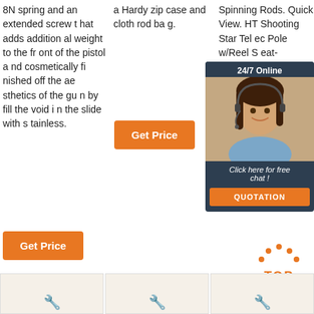8N spring and an extended screw that adds additional weight to the front of the pistol and cosmetically finished off the aesthetics of the gun by fill the void in the slide with stainless.
a Hardy zip case and cloth rod bag.
Spinning Rods. Quick View. HT Shooting Star Telec Pole w/Reel Seat- rice
[Figure (photo): Chat widget with woman wearing headset, 24/7 Online label, Click here for free chat text, and QUOTATION button]
Get Price
Get Price
[Figure (other): TOP icon with orange dots above text]
[Figure (photo): Three product thumbnail images at the bottom of the page]